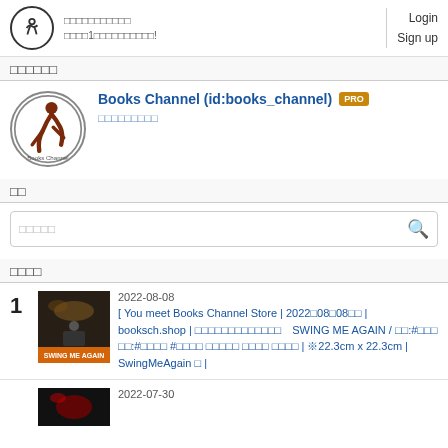Login Sign up — site header with logo and tagline
□□□□□□
Books Channel (id:books_channel) PRO — □□□□□□□□□
□□
□□□□□ [search box]
□□□□
1 | 2022-08-08 | [ You meet Books Channel Store | 2022□08□08□□ | booksch.shop | □□□□□□□□□□□□□ SWING ME AGAIN / □□:#□□□ □□:#□□□□ #□□□□ □□□□□ □□□□ □□□□ | ※22.3cm x 22.3cm | SwingMeAgain □ |
2022-07-30